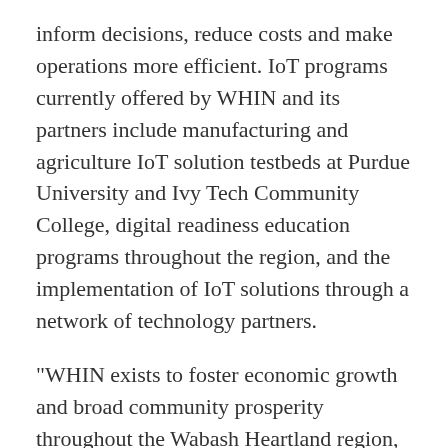inform decisions, reduce costs and make operations more efficient. IoT programs currently offered by WHIN and its partners include manufacturing and agriculture IoT solution testbeds at Purdue University and Ivy Tech Community College, digital readiness education programs throughout the region, and the implementation of IoT solutions through a network of technology partners.
"WHIN exists to foster economic growth and broad community prosperity throughout the Wabash Heartland region, and through a combination of strategic planning and strong partnerships we are accelerating the adoption of IoT technologies to support our objectives," said Johnny Park, WHIN's CEO, in a prepared statement. "Based on longstanding expertise in delivering carrier-grade LoRaWAN